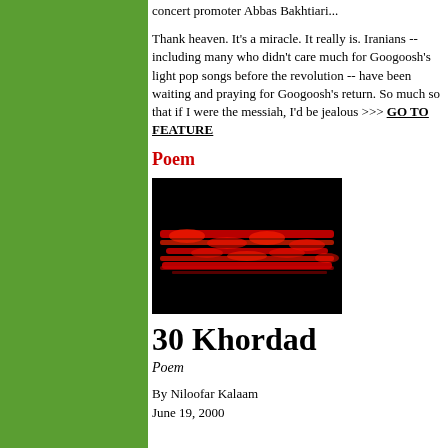concert promoter Abbas Bakhtiari...
Thank heaven. It's a miracle. It really is. Iranians -- including many who didn't care much for Googoosh's light pop songs before the revolution -- have been waiting and praying for Googoosh's return. So much so that if I were the messiah, I'd be jealous >>> GO TO FEATURE
Poem
[Figure (photo): Abstract image with red glowing horizontal lines/chains against a black background]
30 Khordad
Poem
By Niloofar Kalaam
June 19, 2000